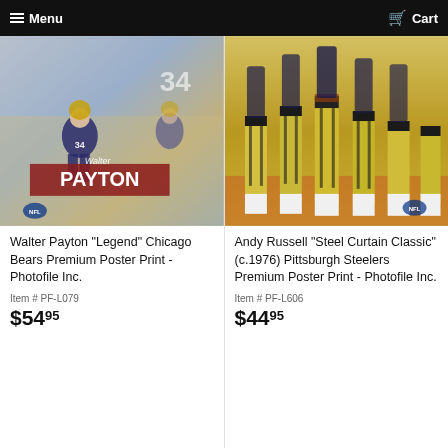Menu  Cart
[Figure (photo): Walter Payton Legend Chicago Bears Premium Poster Print photo thumbnail showing player running]
Walter Payton "Legend" Chicago Bears Premium Poster Print - Photofile Inc.
Item # PF-L079
$54.95
[Figure (photo): Andy Russell Steel Curtain Classic c.1976 Pittsburgh Steelers Premium Poster Print photo thumbnail showing players legs in yellow uniforms]
Andy Russell "Steel Curtain Classic" (c.1976) Pittsburgh Steelers Premium Poster Print - Photofile Inc.
Item # PF-L606
$44.95